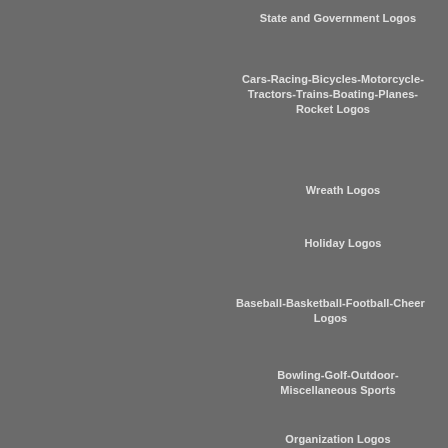State and Government Logos
Cars-Racing-Bicycles-Motorcycle-Tractors-Trains-Boating-Planes-Rocket Logos
Wreath Logos
Holiday Logos
Baseball-Basketball-Football-Cheer Logos
Bowling-Golf-Outdoor-Miscellaneous Sports
Organization Logos